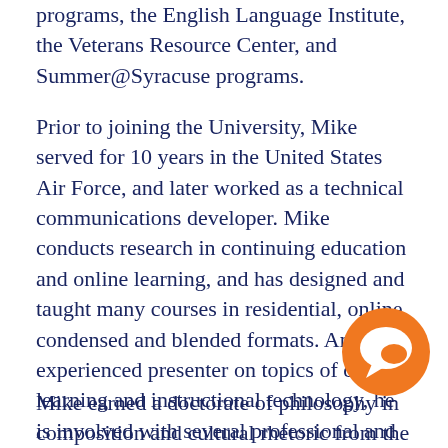programs, the English Language Institute, the Veterans Resource Center, and Summer@Syracuse programs.
Prior to joining the University, Mike served for 10 years in the United States Air Force, and later worked as a technical communications developer. Mike conducts research in continuing education and online learning, and has designed and taught many courses in residential, online, condensed and blended formats. An experienced presenter on topics of digital learning and instructional technology, he is involved with several professional and academic organizations, including the Association for Continuing Higher Education, the Online Learning Consortium, the Institute for Engaged Leaders in Online Learning, and the University Professional and Continuing Education Association.
Mike earned a doctorate of philosophy in composition and cultural rhetoric from the College of Arts and
[Figure (illustration): Orange circular chat/speech bubble icon with white speech bubble symbol inside]